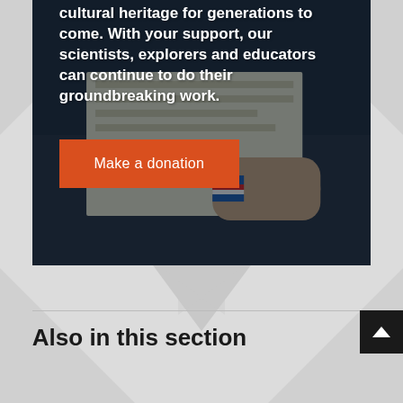[Figure (photo): Dark-toned photo of a person's hand writing on papers at a desk. The person wears colorful wristbands (blue, red, white stripes). Overlaid with white bold text and an orange donation button.]
cultural heritage for generations to come. With your support, our scientists, explorers and educators can continue to do their groundbreaking work.
Make a donation
Also in this section